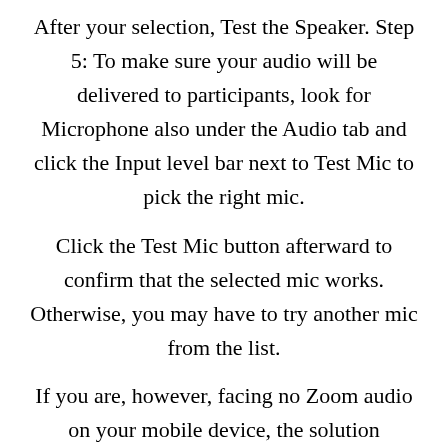After your selection, Test the Speaker. Step 5: To make sure your audio will be delivered to participants, look for Microphone also under the Audio tab and click the Input level bar next to Test Mic to pick the right mic.
Click the Test Mic button afterward to confirm that the selected mic works. Otherwise, you may have to try another mic from the list.
If you are, however, facing no Zoom audio on your mobile device, the solution provided in